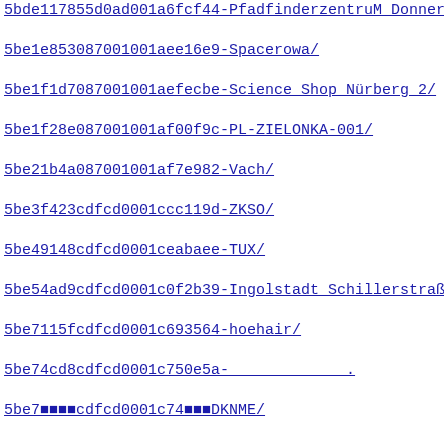5bde117855d0ad001a6fcf44-PfadfinderzentruM Donnerskopf/
5be1e853087001001aee16e9-Spacerowa/
5be1f1d7087001001aefecbe-Science Shop N rberg 2/
5be1f28e087001001af00f9c-PL-ZIELONKA-001/
5be21b4a087001001af7e982-Vach/
5be3f423cdfcd0001ccc119d-ZKSO/
5be49148cdfcd0001ceabaee-TUX/
5be54ad9cdfcd0001c0f2b39-Ingolstadt Schillerstra e - Fr
5be7115fcdfcd0001c693564-hoehair/
5be74cd8cdfcd0001c750e5a-              .
5be775...cdfcd0001c74...DKNME/